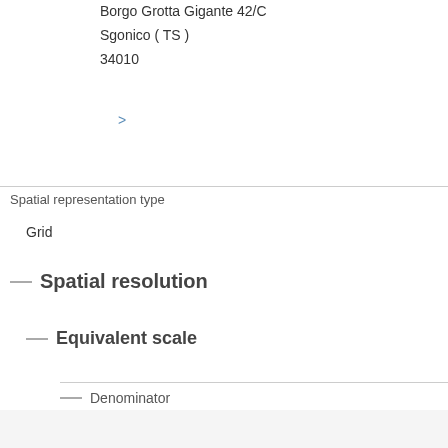Borgo Grotta Gigante 42/C
Sgonico ( TS )
34010
>
Spatial representation type
Grid
Spatial resolution
Equivalent scale
Denominator